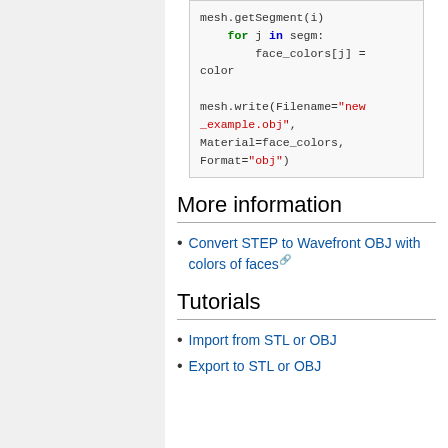mesh.getSegment(i)
    for j in segm:
        face_colors[j] = color

mesh.write(Filename="new_example.obj", Material=face_colors, Format="obj")
More information
Convert STEP to Wavefront OBJ with colors of faces
Tutorials
Import from STL or OBJ
Export to STL or OBJ